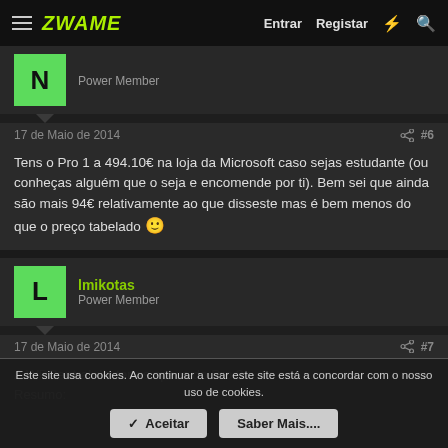ZWAME — Entrar  Registar
[Figure (other): User avatar with letter N, green square, Power Member label]
17 de Maio de 2014  #6
Tens o Pro 1 a 494.10€ na loja da Microsoft caso sejas estudante (ou conheças alguém que o seja e encomende por ti). Bem sei que ainda são mais 94€ relativamente ao que disseste mas é bem menos do que o preço tabelado 🙂
[Figure (other): User avatar with letter L, green square, username Imikotas, Power Member label]
17 de Maio de 2014  #7
A WPCentral diz ter as specs do Pro 3.
Resumo:
Este site usa cookies. Ao continuar a usar este site está a concordar com o nosso uso de cookies.